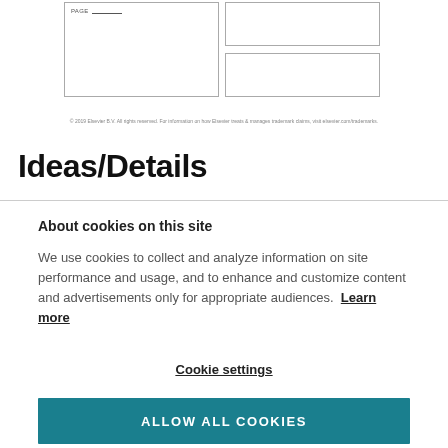[Figure (other): Form with boxes: a large left box labeled PAGE with a line, and two stacked right boxes]
© 2019 Elsevier B.V. All rights reserved. For information on how Elsevier treats & manages trademark claims, visit elsevier.com/trademarks.
Ideas/Details
About cookies on this site
We use cookies to collect and analyze information on site performance and usage, and to enhance and customize content and advertisements only for appropriate audiences. Learn more
Cookie settings
ALLOW ALL COOKIES